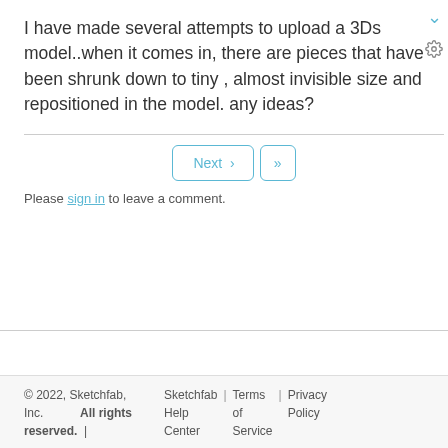I have made several attempts to upload a 3Ds model..when it comes in, there are pieces that have been shrunk down to tiny , almost invisible size and repositioned in the model. any ideas?
Please sign in to leave a comment.
© 2022, Sketchfab, Inc. All rights reserved. | Sketchfab | Terms of Service | Privacy Policy | Help Center